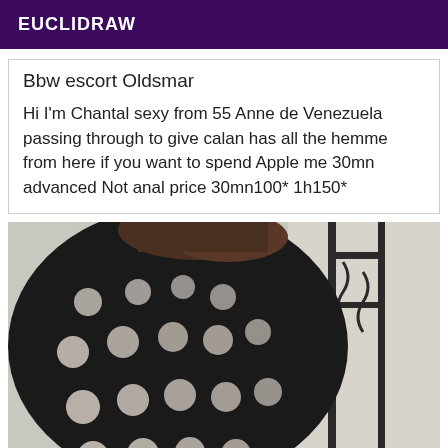EUCLIDRAW
Bbw escort Oldsmar
Hi I'm Chantal sexy from 55 Anne de Venezuela passing through to give calan has all the hemme from here if you want to spend Apple me 30mn advanced Not anal price 30mn100* 1h150*
[Figure (photo): A person wearing a black mesh/fishnet bodysuit with large circular cutouts, photographed from behind, with dark hair, standing near a decorative black metal frame/gate against a light background.]